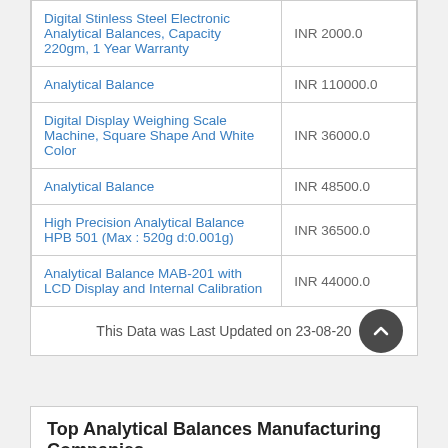| Product Name | Price |
| --- | --- |
| Digital Stinless Steel Electronic Analytical Balances, Capacity 220gm, 1 Year Warranty | INR 2000.0 |
| Analytical Balance | INR 110000.0 |
| Digital Display Weighing Scale Machine, Square Shape And White Color | INR 36000.0 |
| Analytical Balance | INR 48500.0 |
| High Precision Analytical Balance HPB 501 (Max : 520g d:0.001g) | INR 36500.0 |
| Analytical Balance MAB-201 with LCD Display and Internal Calibration | INR 44000.0 |
This Data was Last Updated on 23-08-20
Top Analytical Balances Manufacturing Companies